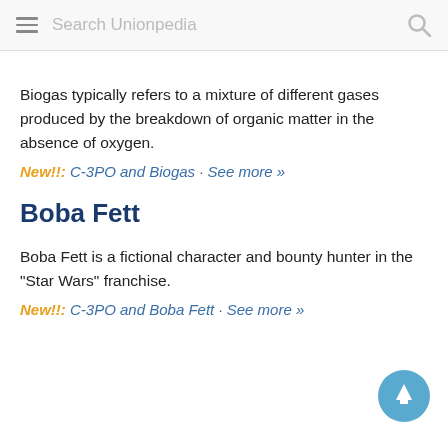Search Unionpedia
Biogas typically refers to a mixture of different gases produced by the breakdown of organic matter in the absence of oxygen.
New!!: C-3PO and Biogas · See more »
Boba Fett
Boba Fett is a fictional character and bounty hunter in the "Star Wars" franchise.
New!!: C-3PO and Boba Fett · See more »